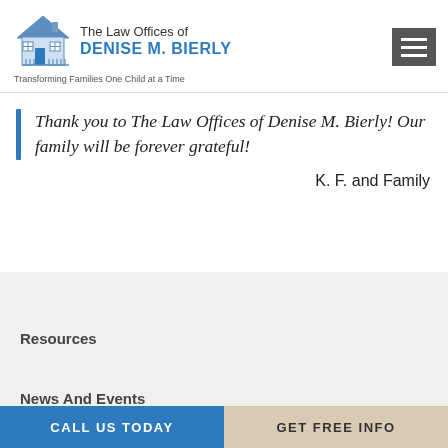The Law Offices of DENISE M. BIERLY — Transforming Families One Child at a Time
Thank you to The Law Offices of Denise M. Bierly! Our family will be forever grateful!
K. F. and Family
Resources
News And Events
CALL US TODAY | GET FREE INFO